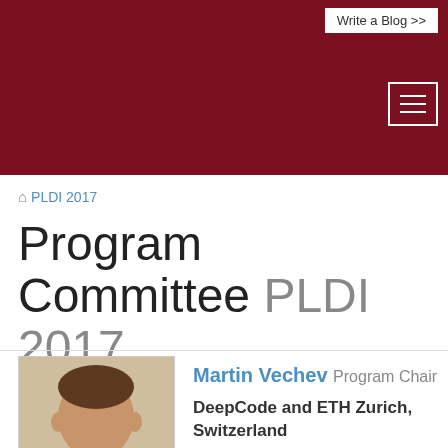Write a Blog >>
PLDI 2017
Program Committee PLDI 2017
[Figure (photo): Photo of Martin Vechev]
Martin Vechev Program Chair
DeepCode and ETH Zurich, Switzerland
[Figure (photo): Photo of Edward Aftandilian]
Edward Aftandilian
Google
United States